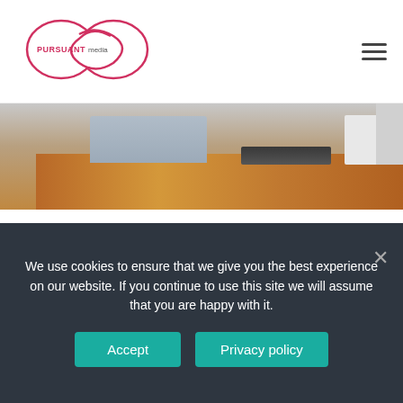[Figure (logo): Pursuant Media logo — infinity loop shape with PURSUANT text on left half and 'media' on right in red/pink stroke]
POPULAR LIFEHACKS
4 DIY Security Solutions After Moving Into A New Home
Home security is a substantial industry; however, you do not have to enlist the services of a professional to install an installed and contracted security system in order to protect your property. With the aid Read more...
We use cookies to ensure that we give you the best experience on our website. If you continue to use this site we will assume that you are happy with it.